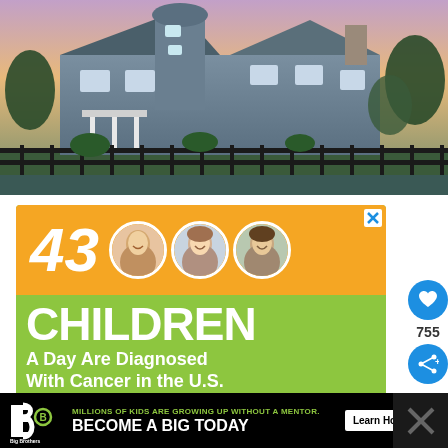[Figure (photo): Exterior photo of a large Victorian/coastal-style house with a lighthouse tower element at dusk, surrounded by trees, with a black iron fence in the foreground]
[Figure (infographic): Advertisement banner on green background reading '43 CHILDREN A Day Are Diagnosed With Cancer in the U.S.' with three circular photos of children and orange accent section]
[Figure (infographic): Bottom advertisement banner for Big Brothers Big Sisters on black background: 'MILLIONS OF KIDS ARE GROWING UP WITHOUT A MENTOR. BECOME A BIG TODAY' with Learn How button]